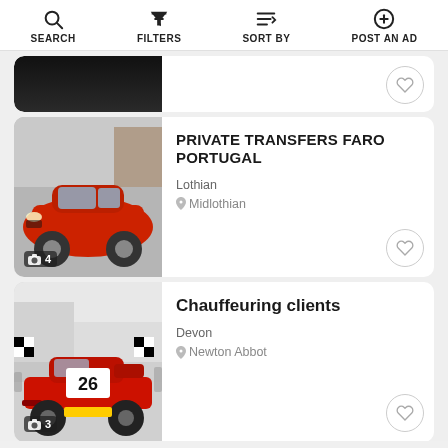SEARCH  FILTERS  SORT BY  POST AN AD
[Figure (screenshot): Partial listing card showing top of a car image (dark background), with heart/favorite button on the right]
PRIVATE TRANSFERS FARO PORTUGAL
Lothian
Midlothian
[Figure (photo): Red Hyundai Kona SUV parked, front three-quarter view, photo count badge showing 4]
Chauffeuring clients
Devon
Newton Abbot
[Figure (photo): Red Ferrari 360 racing car with number 26 on bonnet, parked indoors, photo count badge showing 3]